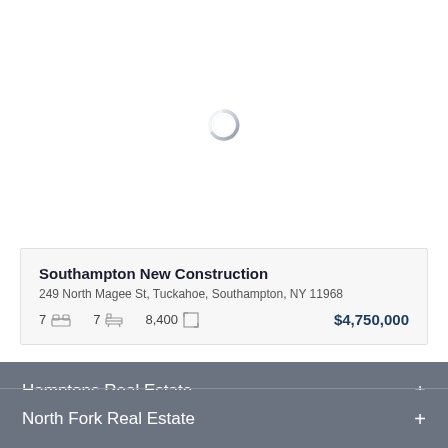[Figure (other): Loading spinner circle icon, partially transparent, centered in white area]
Southampton New Construction
249 North Magee St, Tuckahoe, Southampton, NY 11968
7 [bed] 7 [bath] 8,400 [sqft] $4,750,000
Hamptons Real Estate +
North Fork Real Estate +